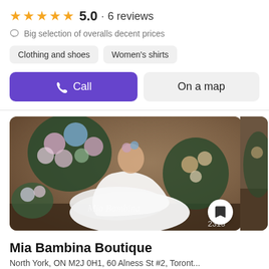★★★★★ 5.0 · 6 reviews
Big selection of overalls decent prices
Clothing and shoes · Women's shirts
Call | On a map
[Figure (photo): Young girl in a white off-shoulder ballgown dress posed with floral arrangements, watermark reads Mia Bambina, number 2313 in corner]
Mia Bambina Boutique
North York, ON M2J 0H1, 60 Alness St #2, Toronto